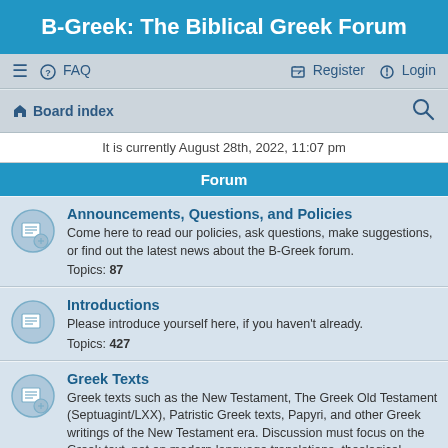B-Greek: The Biblical Greek Forum
≡  FAQ    Register  Login
Board index
It is currently August 28th, 2022, 11:07 pm
Forum
Announcements, Questions, and Policies
Come here to read our policies, ask questions, make suggestions, or find out the latest news about the B-Greek forum.
Topics: 87
Introductions
Please introduce yourself here, if you haven't already.
Topics: 427
Greek Texts
Greek texts such as the New Testament, The Greek Old Testament (Septuagint/LXX), Patristic Greek texts, Papyri, and other Greek writings of the New Testament era. Discussion must focus on the Greek text, not on modern language translations, theological controversies, or textual criticism.
Topics: 1205
Greek Language and Linguistics
Biblical Greek morphology and syntax, aspect, linguistics, discourse analysis, and related topics
Topics: 876
Teaching and Learning Greek